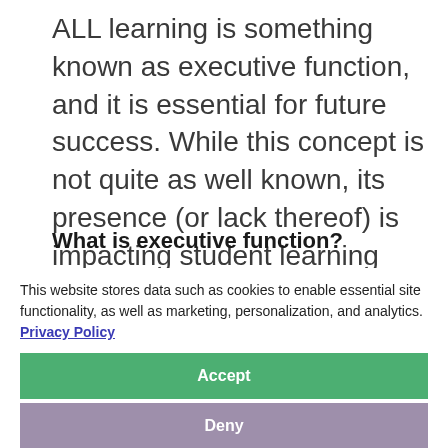ALL learning is something known as executive function, and it is essential for future success. While this concept is not quite as well known, its presence (or lack thereof) is impacting student learning every day.
What is executive function?
This website stores data such as cookies to enable essential site functionality, as well as marketing, personalization, and analytics. Privacy Policy
mental processes that enable us to plan, focus attention, remember instructions, and manage multiple tasks successfully. In simpler terms, executive function skills are
Accept
Deny